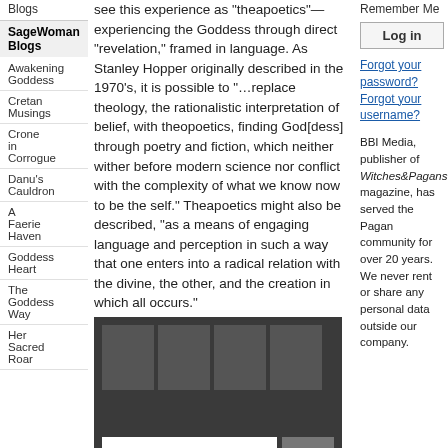Blogs
SageWoman Blogs
Awakening Goddess
Cretan Musings
Crone in Corrogue
Danu's Cauldron
A Faerie Haven
Goddess Heart
The Goddess Way
Her Sacred Roar
see this experience as “theapoetics”—experiencing the Goddess through direct “revelation,” framed in language. As Stanley Hopper originally described in the 1970’s, it is possible to “…replace theology, the rationalistic interpretation of belief, with theopoetics, finding God[dess] through poetry and fiction, which neither wither before modern science nor conflict with the complexity of what we know now to be the self.” Theapoetics might also be described, “as a means of engaging language and perception in such a way that one enters into a radical relation with the divine, the other, and the creation in which all occurs.”
[Figure (other): Video/media player placeholder with dark background, thumbnail grid and playback controls]
A Living Spirituality
[Figure (photo): Small photo thumbnail of a person]
Remember Me
Log in
Forgot your password? Forgot your username?
BBI Media, publisher of Witches&Pagans magazine, has served the Pagan community for over 20 years. We never rent or share any personal data outside our company.